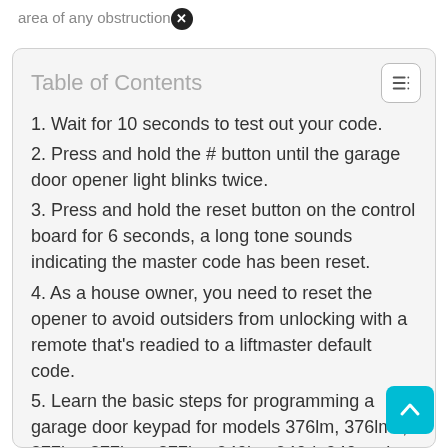area of any obstruction ✕
Table of Contents
1. Wait for 10 seconds to test out your code.
2. Press and hold the # button until the garage door opener light blinks twice.
3. Press and hold the reset button on the control board for 6 seconds, a long tone sounds indicating the master code has been reset.
4. As a house owner, you need to reset the opener to avoid outsiders from unlocking with a remote that's readied to a liftmaster default code.
5. Learn the basic steps for programming a garage door keypad for models 376lm, 376lmc, 377lm, 377lmc, 877lm, 940lm, 940d, 940estd, 976lm and 976lmc. ✕